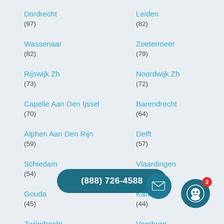Dordrecht
(97)
Leiden
(82)
Wassenaar
(82)
Zoetermeer
(79)
Rijswijk Zh
(73)
Noordwijk Zh
(72)
Capelle Aan Den Ijssel
(70)
Barendrecht
(64)
Alphen Aan Den Rijn
(59)
Delft
(57)
Schiedam
(54)
Vlaardingen
(50)
Gouda
(45)
Katwijk
(44)
Zwijndrecht
Voorburg